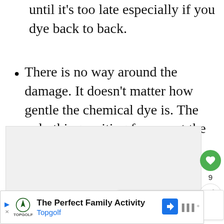until it's too late especially if you dye back to back.
There is no way around the damage. It doesn't matter how gentle the chemical dye is. The only thing waiting for you at the end of a hair dyeing is a pair of scissors.
[Figure (photo): Embedded image placeholder area (light gray box)]
[Figure (infographic): Social interaction buttons: heart/like button (green, count 9) and share button]
[Figure (infographic): What's Next panel showing olive oil image with text 'WHAT'S NEXT → Olive Oil Treatments f...']
[Figure (infographic): Advertisement banner for Topgolf: 'The Perfect Family Activity' with Topgolf logo, navigation icon, and sound icon]